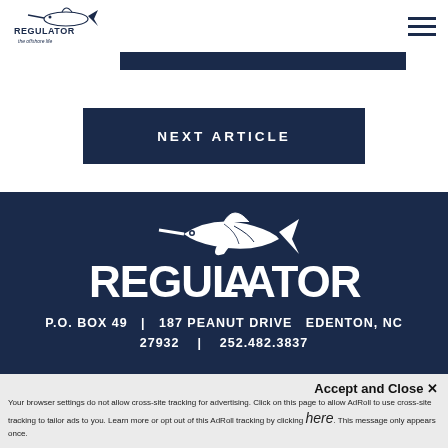[Figure (logo): Regulator Marine small logo with marlin fish and text 'the offshore life' in top left header]
[Figure (other): Dark navy blue horizontal navigation bar]
NEXT ARTICLE
[Figure (logo): Large Regulator Marine logo with marlin fish above large REGULATOR text on dark navy background]
P.O. BOX 49  |  187 PEANUT DRIVE  EDENTON, NC  27932  |  252.482.3837
Accept and Close ✕
Your browser settings do not allow cross-site tracking for advertising. Click on this page to allow AdRoll to use cross-site tracking to tailor ads to you. Learn more or opt out of this AdRoll tracking by clicking here. This message only appears once.